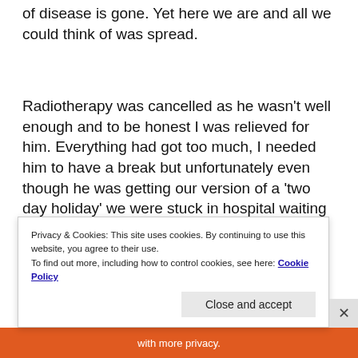of disease is gone. Yet here we are and all we could think of was spread.
Radiotherapy was cancelled as he wasn't well enough and to be honest I was relieved for him. Everything had got too much, I needed him to have a break but unfortunately even though he was getting our version of a 'two day holiday' we were stuck in hospital waiting for tests to ensure this monster hadn't spread anywhere we hadn't considered.
[Figure (other): Partial view of advertisement cards — a red/orange circular element on the left and a dark blue credit/debit card shape on the right]
Privacy & Cookies: This site uses cookies. By continuing to use this website, you agree to their use.
To find out more, including how to control cookies, see here: Cookie Policy
Close and accept
with more privacy.